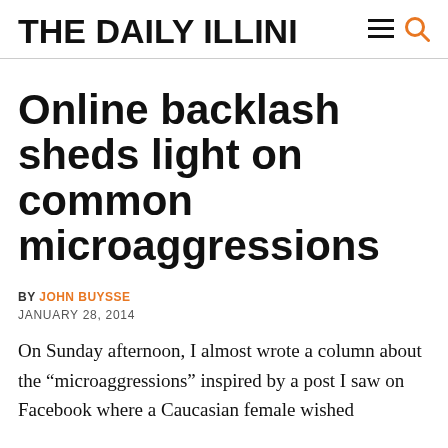THE DAILY ILLINI
Online backlash sheds light on common microaggressions
BY JOHN BUYSSE
JANUARY 28, 2014
On Sunday afternoon, I almost wrote a column about the “microaggressions” inspired by a post I saw on Facebook where a Caucasian female wished